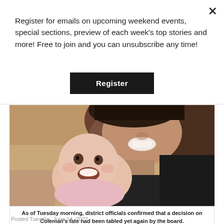Register for emails on upcoming weekend events, special sections, preview of each week's top stories and more! Free to join and you can unsubscribe any time!
Register
[Figure (photo): A smiling adult holding a laughing baby. The adult leans over the baby from behind, both appear happy and are photographed close-up.]
As of Tuesday morning, district officials confirmed that a decision on Coleman's fate had been tabled yet again by the board.
Posted Tuesday, June 14, 2022